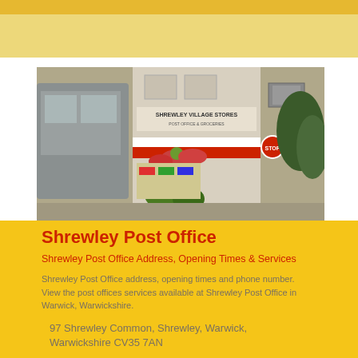[Figure (photo): Photograph of Shrewley Village Stores / Post Office building exterior, showing a bus on the left, hanging flower baskets, red Post Office signage stripe, a stop sign, and trees on the right.]
Shrewley Post Office
Shrewley Post Office Address, Opening Times & Services
Shrewley Post Office address, opening times and phone number. View the post offices services available at Shrewley Post Office in Warwick, Warwickshire.
97 Shrewley Common, Shrewley, Warwick, Warwickshire CV35 7AN